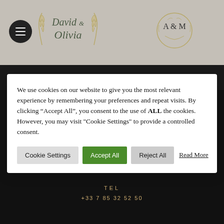[Figure (logo): Website header with hamburger menu, 'David & Olivia' script logo with gold leaf decorations, and A&M circular monogram logo on grey background]
We use cookies on our website to give you the most relevant experience by remembering your preferences and repeat visits. By clicking “Accept All”, you consent to the use of ALL the cookies. However, you may visit "Cookie Settings" to provide a controlled consent.
Cookie Settings | Accept All | Reject All | Read More
[Figure (logo): Instagram icon in a square border box, centered on dark background]
TEL
+33 7 85 32 52 50